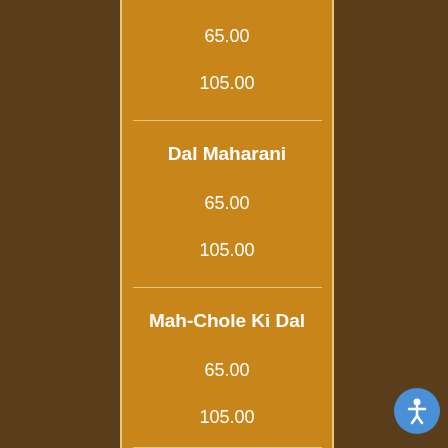65.00
105.00
Dal Maharani
65.00
105.00
Mah-Chole Ki Dal
65.00
105.00